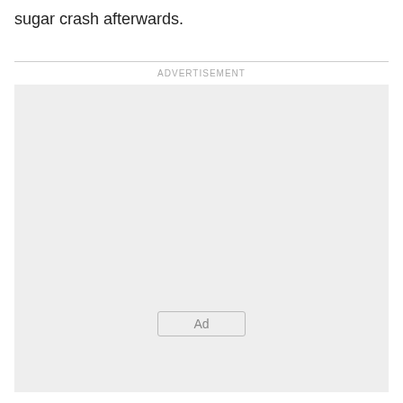sugar crash afterwards.
[Figure (other): Advertisement placeholder box with 'Ad' button label centered near bottom]
ADVERTISEMENT